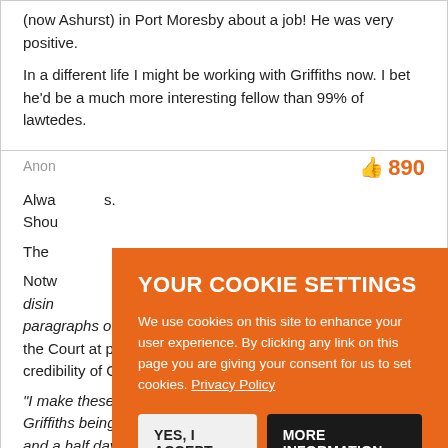(now Ashurst) in Port Moresby about a job! He was very positive.
In a different life I might be working with Griffiths now.  I bet he'd be a much more interesting fellow than 99% of lawtedes.
Anon
890
Always... Should...
The...
Notwithstanding ... unquestionably ... disinterested ... these paragraphs or sub-paragraphs, sometimes multiple times", the Court at para 134 felt somewhat differently about the credibility of Griffiths...
"I make these observations because, having observed Mr Griffiths being meticulously cross-examined over about one and a half days, where close attention by the Court was
[Figure (screenshot): Cookie consent overlay on orange background with title 'YOUR COOKIE SETTINGS', body text about cookie usage with Privacy Policy link, and two buttons: 'YES, I ACCEPT' and 'MORE INFORMATION']